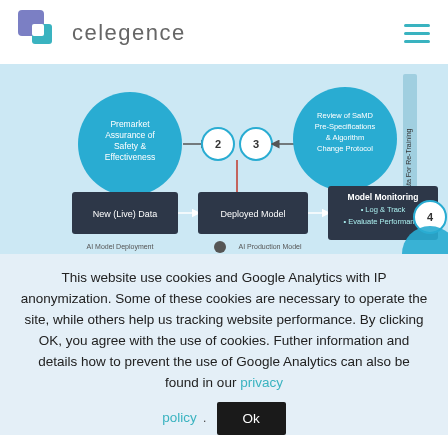celegence
[Figure (flowchart): AI/SaMD regulatory flowchart showing: Premarket Assurance of Safety & Effectiveness circle, steps 2 and 3 circles, Review of SaMD Pre-Specifications & Algorithm Change Protocol circle, a vertical 'Data For Re-Training' label, New (Live) Data box, Deployed Model box, Model Monitoring box (Log & Track, Evaluate Performance), step 4 circle, AI Model Deployment and AI Production Model labels at bottom.]
This website use cookies and Google Analytics with IP anonymization. Some of these cookies are necessary to operate the site, while others help us tracking website performance. By clicking OK, you agree with the use of cookies. Futher information and details how to prevent the use of Google Analytics can also be found in our privacy policy.